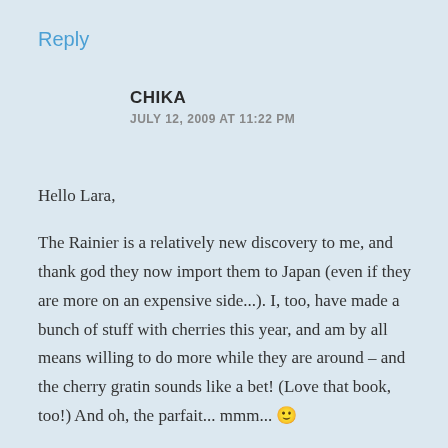Reply
CHIKA
JULY 12, 2009 AT 11:22 PM
Hello Lara,

The Rainier is a relatively new discovery to me, and thank god they now import them to Japan (even if they are more on an expensive side...). I, too, have made a bunch of stuff with cherries this year, and am by all means willing to do more while they are around – and the cherry gratin sounds like a bet! (Love that book, too!) And oh, the parfait... mmm... 🙂